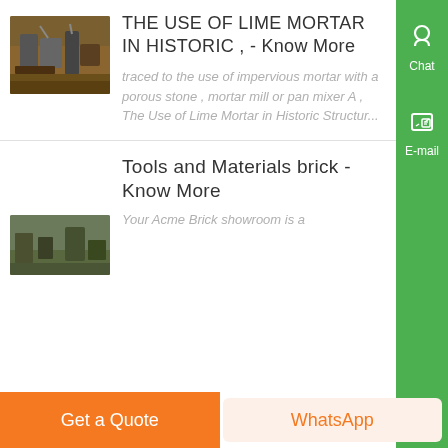THE USE OF LIME MORTAR IN HISTORIC , - Know More
[Figure (photo): Industrial mining or quarry equipment machinery outdoors]
traced to the use of impervious mortar with a porous stone , mortar mill or pan mixer A , The Use of Lime Mortar in Historic Structur...
Tools and Materials brick - Know More
[Figure (photo): Construction or quarry site with machinery]
Your Acme Brick showroom is a
Get a Quote
WhatsApp
Chat
E-mail